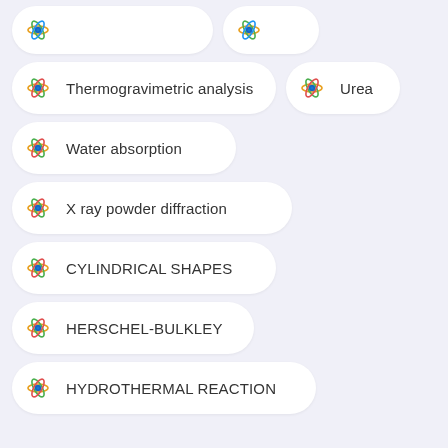Thermogravimetric analysis
Urea
Water absorption
X ray powder diffraction
CYLINDRICAL SHAPES
HERSCHEL-BULKLEY
HYDROTHERMAL REACTION